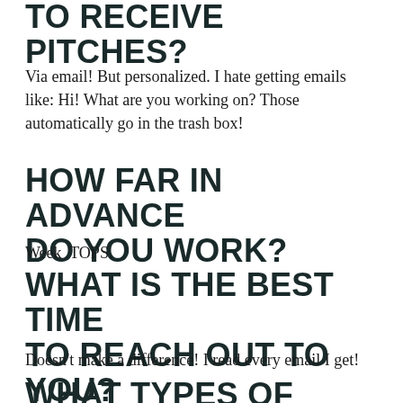TO RECEIVE PITCHES?
Via email! But personalized. I hate getting emails like: Hi! What are you working on? Those automatically go in the trash box!
HOW FAR IN ADVANCE DO YOU WORK?
Week TOPS.
WHAT IS THE BEST TIME TO REACH OUT TO YOU?
Doesn't make a difference! I read every email I get!
WHAT TYPES OF